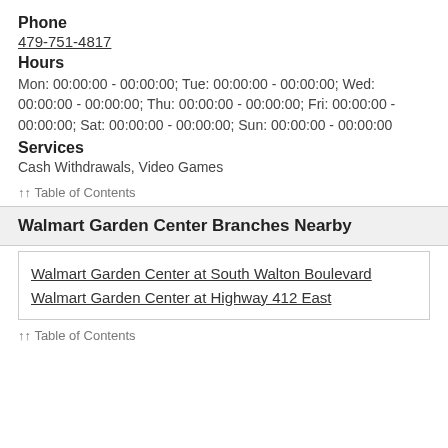Phone
479-751-4817
Hours
Mon: 00:00:00 - 00:00:00; Tue: 00:00:00 - 00:00:00; Wed: 00:00:00 - 00:00:00; Thu: 00:00:00 - 00:00:00; Fri: 00:00:00 - 00:00:00; Sat: 00:00:00 - 00:00:00; Sun: 00:00:00 - 00:00:00
Services
Cash Withdrawals, Video Games
↑↑ Table of Contents
Walmart Garden Center Branches Nearby
Walmart Garden Center at South Walton Boulevard
Walmart Garden Center at Highway 412 East
↑↑ Table of Contents